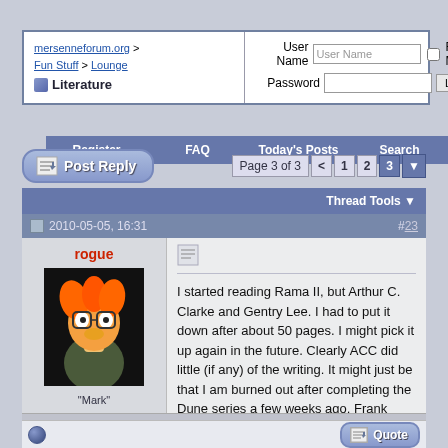mersenneforum.org > Fun Stuff > Lounge > Literature | User Name | Password | Remember Me | Log in | Register | FAQ | Today's Posts | Search
Post Reply | Page 3 of 3 | Thread Tools
2010-05-05, 16:31 #23
rogue
"Mark"
Apr 2003
Between here and the
37·181 Posts
I started reading Rama II, but Arthur C. Clarke and Gentry Lee. I had to put it down after about 50 pages. I might pick it up again in the future. Clearly ACC did little (if any) of the writing. It might just be that I am burned out after completing the Dune series a few weeks ago. Frank Herbert's last two books (I have avoided his kids books) were drawn out bores.